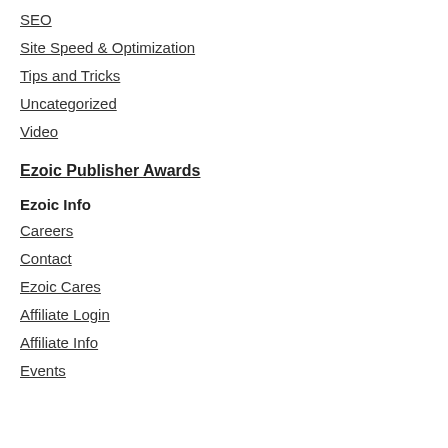SEO
Site Speed & Optimization
Tips and Tricks
Uncategorized
Video
Ezoic Publisher Awards
Ezoic Info
Careers
Contact
Ezoic Cares
Affiliate Login
Affiliate Info
Events